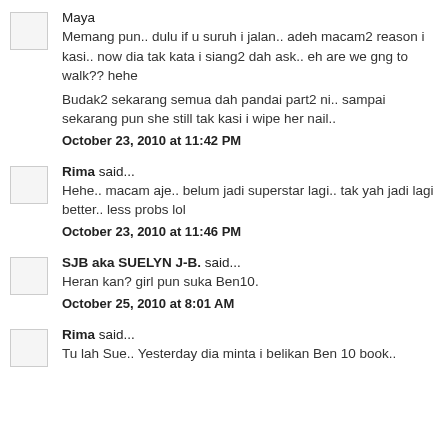Maya
Memang pun.. dulu if u suruh i jalan.. adeh macam2 reason i kasi.. now dia tak kata i siang2 dah ask.. eh are we gng to walk?? hehe
Budak2 sekarang semua dah pandai part2 ni.. sampai sekarang pun she still tak kasi i wipe her nail..
October 23, 2010 at 11:42 PM
Rima said...
Hehe.. macam aje.. belum jadi superstar lagi.. tak yah jadi lagi better.. less probs lol
October 23, 2010 at 11:46 PM
SJB aka SUELYN J-B. said...
Heran kan? girl pun suka Ben10.
October 25, 2010 at 8:01 AM
Rima said...
Tu lah Sue.. Yesterday dia minta i belikan Ben 10 book..